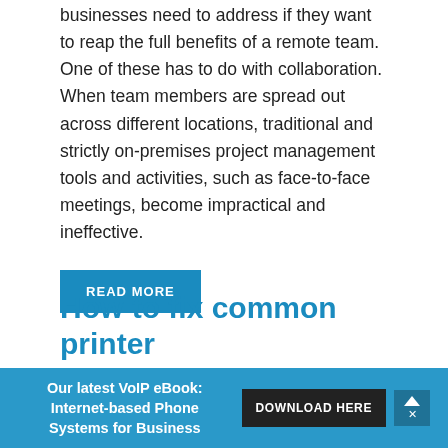businesses need to address if they want to reap the full benefits of a remote team. One of these has to do with collaboration. When team members are spread out across different locations, traditional and strictly on-premises project management tools and activities, such as face-to-face meetings, become impractical and ineffective.
READ MORE
How to fix common printer problems
May 25th, 2022   Hardware
Our latest VoIP eBook: Internet-based Phone Systems for Business   DOWNLOAD HERE